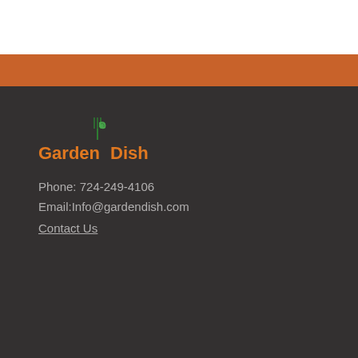[Figure (logo): GardenDish logo with fork and leaf icon above text, 'Garden' in orange and 'Dish' in orange with green plant/fork graphic in between]
Phone: 724-249-4106
Email:Info@gardendish.com
Contact Us